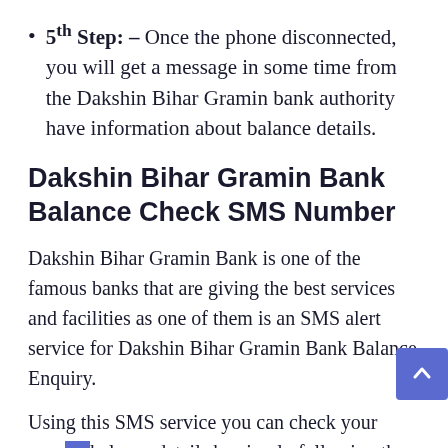5th Step: – Once the phone disconnected, you will get a message in some time from the Dakshin Bihar Gramin bank authority have information about balance details.
Dakshin Bihar Gramin Bank Balance Check SMS Number
Dakshin Bihar Gramin Bank is one of the famous banks that are giving the best services and facilities as one of them is an SMS alert service for Dakshin Bihar Gramin Bank Balance Enquiry.
Using this SMS service you can check your account balance details by simply following the below-given steps: